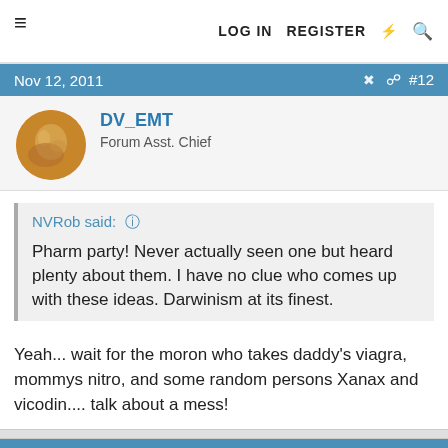≡   LOG IN   REGISTER   ⚡   🔍
Nov 12, 2011   #12
DV_EMT
Forum Asst. Chief
NVRob said: ↑

Pharm party! Never actually seen one but heard plenty about them. I have no clue who comes up with these ideas. Darwinism at its finest.
Yeah... wait for the moron who takes daddy's viagra, mommys nitro, and some random persons Xanax and vicodin.... talk about a mess!
Nov 12, 2011   #13